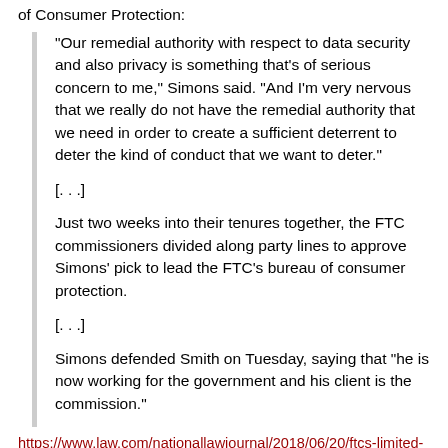of Consumer Protection:
“Our remedial authority with respect to data security and also privacy is something that’s of serious concern to me,” Simons said. “And I’m very nervous that we really do not have the remedial authority that we need in order to create a sufficient deterrent to deter the kind of conduct that we want to deter.”
[. . .]
Just two weeks into their tenures together, the FTC commissioners divided along party lines to approve Simons’ pick to lead the FTC’s bureau of consumer protection.
[. . .]
Simons defended Smith on Tuesday, saying that “he is now working for the government and his client is the commission.”
https://www.law.com/nationallawjournal/2018/06/20/ftcs-limited-data-privacy-power-makes-chair-joe-simons-